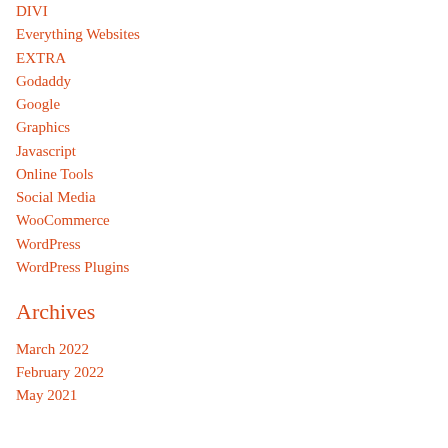DIVI
Everything Websites
EXTRA
Godaddy
Google
Graphics
Javascript
Online Tools
Social Media
WooCommerce
WordPress
WordPress Plugins
Archives
March 2022
February 2022
May 2021